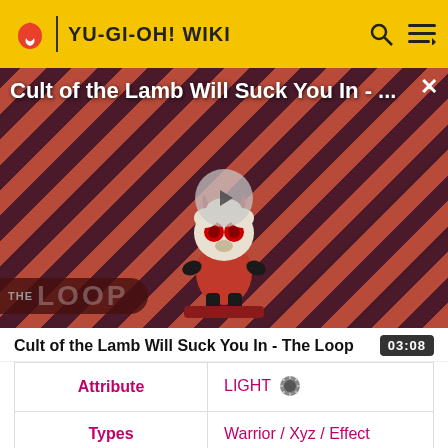YU-GI-OH! WIKI
[Figure (screenshot): Video thumbnail for 'Cult of the Lamb Will Suck You In - The Loop' showing an animated lamb character on a striped red/dark background with THE LOOP branding and a play button overlay]
Cult of the Lamb Will Suck You In - The Loop  03:08
| Attribute | Value |
| --- | --- |
| Attribute | LIGHT |
| Types | Warrior / Xyz / Effect |